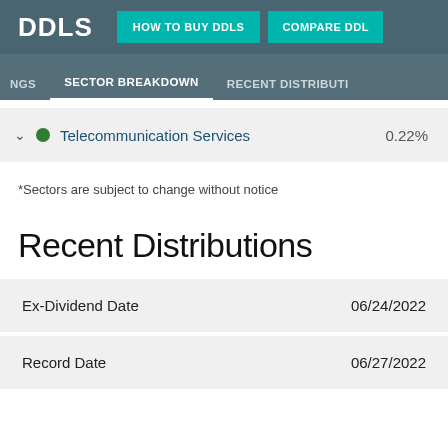DDLS | HOW TO BUY DDLS | COMPARE DDL
NGS | SECTOR BREAKDOWN | RECENT DISTRIBUTIONS
Telecommunication Services  0.22%
*Sectors are subject to change without notice
Recent Distributions
|  |  |
| --- | --- |
| Ex-Dividend Date | 06/24/2022 |
| Record Date | 06/27/2022 |